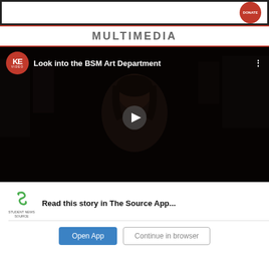[Figure (screenshot): Top banner with red donate button]
MULTIMEDIA
[Figure (screenshot): YouTube-style video thumbnail titled 'Look into the BSM Art Department' with KE Video logo, person in dark room, play button overlay]
Read this story in The Source App...
Open App    Continue in browser